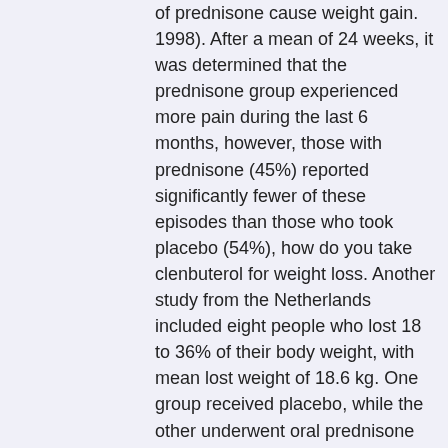of prednisone cause weight gain. 1998). After a mean of 24 weeks, it was determined that the prednisone group experienced more pain during the last 6 months, however, those with prednisone (45%) reported significantly fewer of these episodes than those who took placebo (54%), how do you take clenbuterol for weight loss. Another study from the Netherlands included eight people who lost 18 to 36% of their body weight, with mean lost weight of 18.6 kg. One group received placebo, while the other underwent oral prednisone (Vandenbergh et al. 1999), how do i lose weight while on prednisone. After a mean of 48 weeks, the prednisone group continued to report significantly fewer painful episodes as compared with those taking placebo (52% vs. 91%) (De Groot et al. 1999). Similar to this study, a study involving a single patient also demonstrated that prednisone was